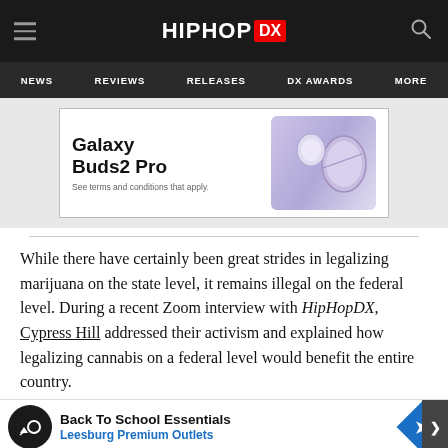HIPHOP DX — NEWS | REVIEWS | RELEASES | DX AWARDS | MORE
[Figure (photo): Samsung Galaxy Buds2 Pro advertisement banner showing purple earbuds with text 'Galaxy Buds2 Pro — See terms and conditions that apply.']
While there have certainly been great strides in legalizing marijuana on the state level, it remains illegal on the federal level. During a recent Zoom interview with HipHopDX, Cypress Hill addressed their activism and explained how legalizing cannabis on a federal level would benefit the entire country.
[Figure (other): Back To School Essentials — Leesburg Premium Outlets advertisement banner]
"For u... music platfo... you